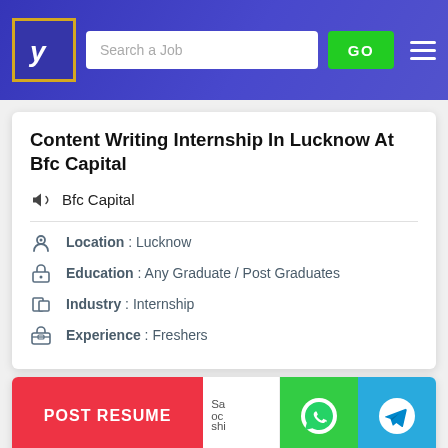Search a Job | GO
Content Writing Internship In Lucknow At Bfc Capital
Bfc Capital
Location : Lucknow
Education : Any Graduate / Post Graduates
Industry : Internship
Experience : Freshers
POST RESUME
Jiijwisha Society